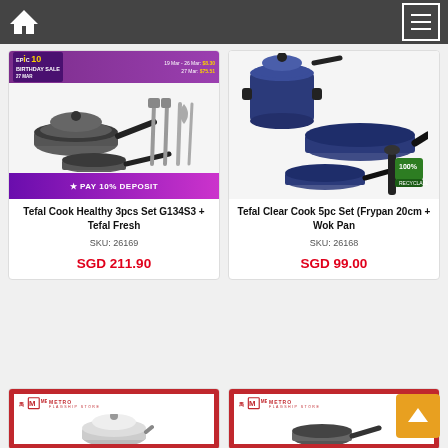Navigation bar with home icon and menu icon
[Figure (photo): Tefal Cook Healthy 3pcs Set product image with cookware and utensils, Epic 10 Birthday Sale banner, Pay 10% Deposit banner]
Tefal Cook Healthy 3pcs Set G134S3 + Tefal Fresh
SKU: 26169
SGD 211.90
[Figure (photo): Tefal Clear Cook 5pc Set product image showing blue cookware set with pot, wok and frypan]
Tefal Clear Cook 5pc Set (Frypan 20cm + Wok Pan
SKU: 26168
SGD 99.00
[Figure (photo): Metro Flagship Store product image partially visible showing a silver pot]
[Figure (photo): Metro Flagship Store product image partially visible showing a frypan]